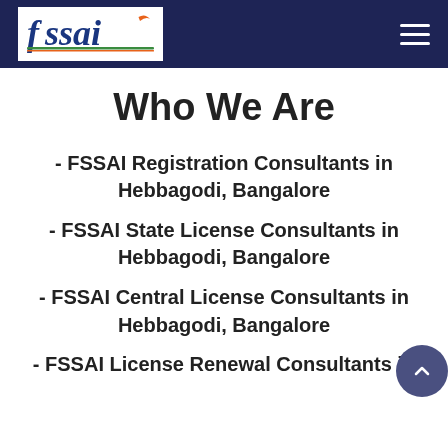fssai [logo] [hamburger menu]
Who We Are
- FSSAI Registration Consultants in Hebbagodi, Bangalore
- FSSAI State License Consultants in Hebbagodi, Bangalore
- FSSAI Central License Consultants in Hebbagodi, Bangalore
- FSSAI License Renewal Consultants in